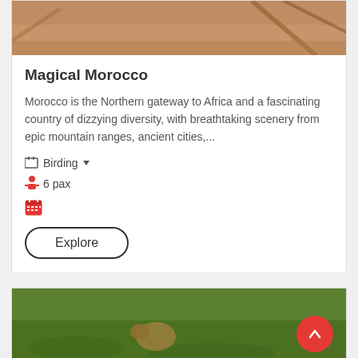[Figure (photo): Cropped top portion of a bird photo with sandy/brown background and tree branches]
Magical Morocco
Morocco is the Northern gateway to Africa and a fascinating country of dizzying diversity, with breathtaking scenery from epic mountain ranges, ancient cities,...
Birding ▾
6 pax
(calendar icon)
Explore
[Figure (photo): Bottom card showing a bird on green grass background with red scroll-to-top button]